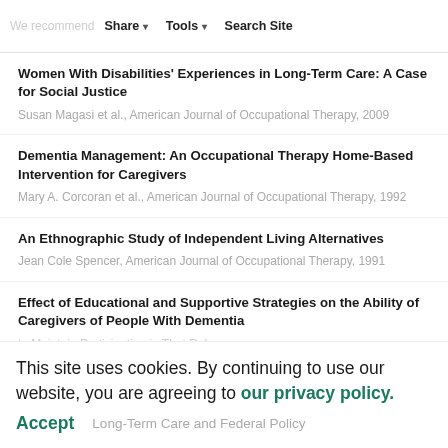We recommend | Share | Tools | Search Site
Women With Disabilities' Experiences in Long-Term Care: A Case for Social Justice
Dementia Management: An Occupational Therapy Home-Based Intervention for Caregivers
An Ethnographic Study of Independent Living Alternatives
Effect of Educational and Supportive Strategies on the Ability of Caregivers of People With Dementia to Maintain Participation in That Role
This site uses cookies. By continuing to use our website, you are agreeing to our privacy policy. Accept